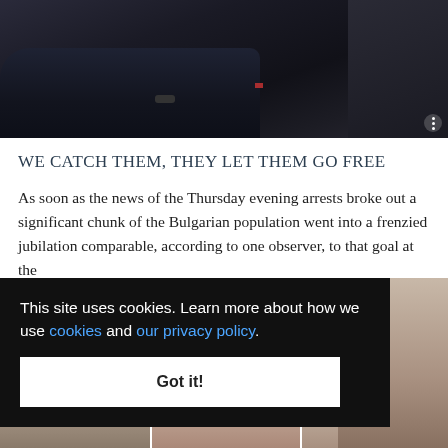[Figure (photo): Dark nighttime photo showing a dark car door/vehicle with a figure in dark clothing, another figure visible on the right side in dim lighting]
WE CATCH THEM, THEY LET THEM GO FREE
As soon as the news of the Thursday evening arrests broke out a significant chunk of the Bulgarian population went into a frenzied jubilation comparable, according to one observer, to that goal at the
This site uses cookies. Learn more about how we use cookies and our privacy policy.
Got it!
[Figure (photo): Strip of portrait photos of people at the bottom of the page, with a larger face photo on the right side]